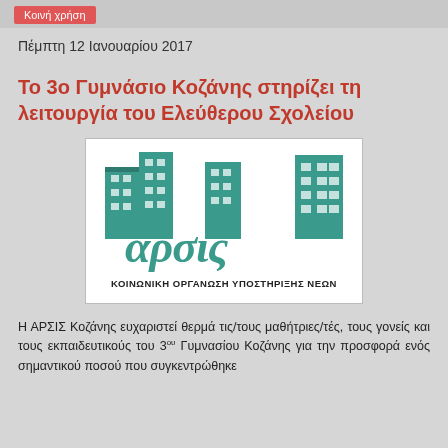Κοινή χρήση
Πέμπτη 12 Ιανουαρίου 2017
Το 3ο Γυμνάσιο Κοζάνης στηρίζει τη λειτουργία του Ελεύθερου Σχολείου
[Figure (logo): ΑΡΣΙΣ logo — stylized teal building silhouettes above cursive Greek letters 'αρσις', with text ΚΟΙΝΩΝΙΚΗ ΟΡΓΑΝΩΣΗ ΥΠΟΣΤΗΡΙΞΗΣ ΝΕΩΝ]
Η ΑΡΣΙΣ Κοζάνης ευχαριστεί θερμά τις/τους μαθήτριες/τές, τους γονείς και τους εκπαιδευτικούς του 3ου Γυμνασίου Κοζάνης για την προσφορά ενός σημαντικού ποσού που συγκεντρώθηκε